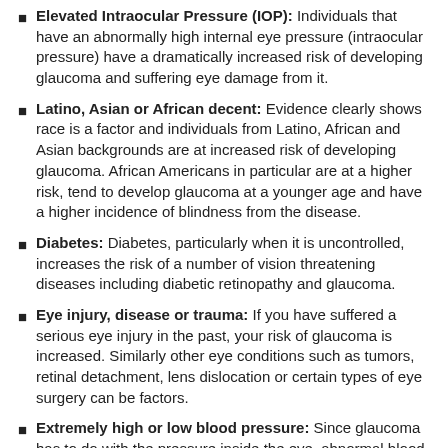Elevated Intraocular Pressure (IOP): Individuals that have an abnormally high internal eye pressure (intraocular pressure) have a dramatically increased risk of developing glaucoma and suffering eye damage from it.
Latino, Asian or African decent: Evidence clearly shows race is a factor and individuals from Latino, African and Asian backgrounds are at increased risk of developing glaucoma. African Americans in particular are at a higher risk, tend to develop glaucoma at a younger age and have a higher incidence of blindness from the disease.
Diabetes: Diabetes, particularly when it is uncontrolled, increases the risk of a number of vision threatening diseases including diabetic retinopathy and glaucoma.
Eye injury, disease or trauma: If you have suffered a serious eye injury in the past, your risk of glaucoma is increased. Similarly other eye conditions such as tumors, retinal detachment, lens dislocation or certain types of eye surgery can be factors.
Extremely high or low blood pressure: Since glaucoma has to do with the pressure inside the eye, abnormal blood pressure can contribute to an increased risk in the disease.